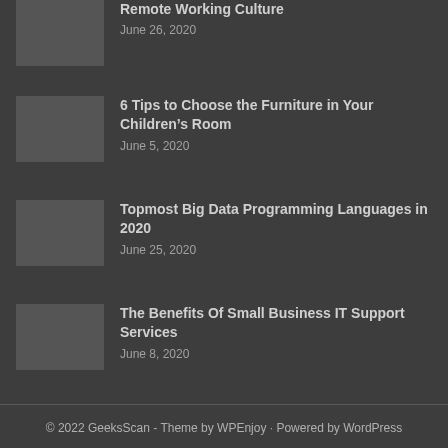Remote Working Culture
June 26, 2020
6 Tips to Choose the Furniture in Your Children’s Room
June 5, 2020
Topmost Big Data Programming Languages in 2020
June 25, 2020
The Benefits Of Small Business IT Support Services
June 8, 2020
© 2022 GeeksScan - Theme by WPEnjoy · Powered by WordPress